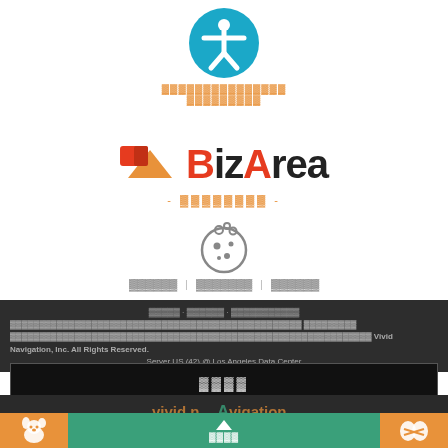[Figure (logo): Accessibility icon - blue circle with white human figure (arms and legs outstretched)]
▓▓▓▓▓▓▓▓▓▓▓▓▓▓▓ ▓▓▓▓▓▓▓▓▓
[Figure (logo): BizArea logo with orange/red geometric shapes and bold text, subtitle in orange dashes]
- ▓▓▓▓▓▓▓▓ -
[Figure (illustration): Cookie icon in gray outline style]
▓▓▓▓▓▓ | ▓▓▓▓▓▓▓ | ▓▓▓▓▓▓
▓▓▓▓▓▓▓▓▓▓▓▓▓▓▓▓▓▓▓▓▓▓▓▓▓▓▓▓▓▓▓▓▓▓▓▓▓▓▓▓▓▓▓▓▓▓▓▓▓▓▓▓ ▓▓▓▓▓▓▓▓▓ ▓▓▓▓▓▓▓▓▓▓▓▓▓▓▓▓▓▓▓▓▓▓▓▓▓▓▓▓▓▓▓▓▓▓▓▓▓▓▓▓▓▓▓▓▓▓▓▓▓▓▓▓▓▓▓▓▓▓▓▓▓▓ Vivid Navigation, Inc. All Rights Reserved. Server US (42) @ Los Angeles Data Center
▓▓▓▓
[Figure (logo): vivid nAvigation watermark logo in dark background]
[Figure (illustration): Bottom bar with orange left button (squirrel/dog icon), green center with up arrow, orange right button (handshake icon)]
▓▓▓▓